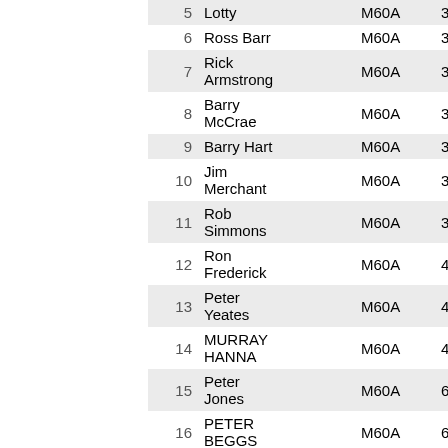| # | Name | Cat | Time |
| --- | --- | --- | --- |
| 5 | Lotty | M60A | 33.4… |
| 6 | Ross Barr | M60A | 34.2… |
| 7 | Rick Armstrong | M60A | 35.0… |
| 8 | Barry McCrae | M60A | 37.1… |
| 9 | Barry Hart | M60A | 37.5… |
| 10 | Jim Merchant | M60A | 38.2… |
| 11 | Rob Simmons | M60A | 38.4… |
| 12 | Ron Frederick | M60A | 43.0… |
| 13 | Peter Yeates | M60A | 44.3… |
| 14 | MURRAY HANNA | M60A | 46.1… |
| 15 | Peter Jones | M60A | 60.5… |
| 16 | PETER BEGGS | M60A | 68.1… |
| 17 | henry Post | M60A | 83.5… |
| 18 | Alex Cl… | M60A | 92.4… |